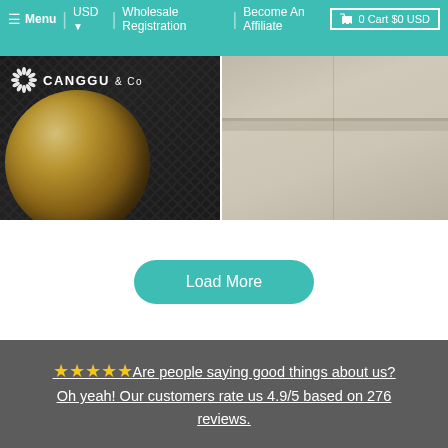Menu | USD | Wholesale Registration | Become An Affiliate | 0 Cart $0 USD
[Figure (photo): Left product photo: wooden bowl on dark textured background with Canggu & Co logo overlay]
[Figure (photo): Right product photo: beige/linen fabric or mattress surface]
Load More
★★★★★ Are people saying good things about us? Oh yeah! Our customers rate us 4.9/5 based on 276 reviews.